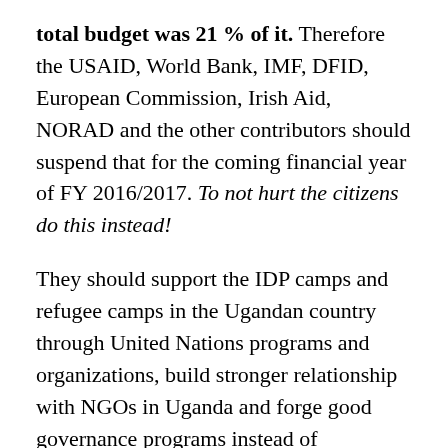total budget was 21 % of it. Therefore the USAID, World Bank, IMF, DFID, European Commission, Irish Aid, NORAD and the other contributors should suspend that for the coming financial year of FY 2016/2017. To not hurt the citizens do this instead!
They should support the IDP camps and refugee camps in the Ugandan country through United Nations programs and organizations, build stronger relationship with NGOs in Uganda and forge good governance programs instead of supporting a government who is carrying out rigged election and embezzlement of government funds and international aid. Therefore